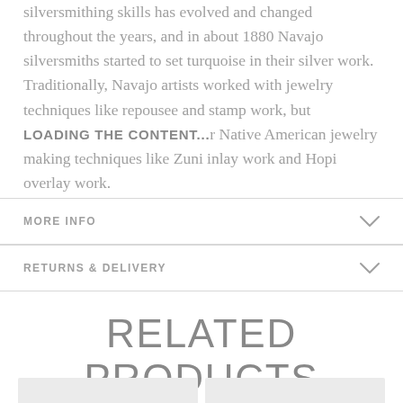silversmithing skills has evolved and changed throughout the years, and in about 1880 Navajo silversmiths started to set turquoise in their silver work.  Traditionally, Navajo artists worked with jewelry techniques like repousee and stamp work, but today they explored in other Native American jewelry making techniques like Zuni inlay work and Hopi overlay work.
MORE INFO
RETURNS & DELIVERY
RELATED PRODUCTS